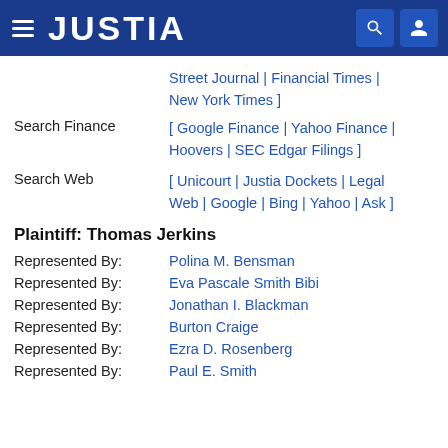JUSTIA
Street Journal | Financial Times | New York Times ]
Search Finance  [ Google Finance | Yahoo Finance | Hoovers | SEC Edgar Filings ]
Search Web  [ Unicourt | Justia Dockets | Legal Web | Google | Bing | Yahoo | Ask ]
Plaintiff: Thomas Jerkins
Represented By:  Polina M. Bensman
Represented By:  Eva Pascale Smith Bibi
Represented By:  Jonathan I. Blackman
Represented By:  Burton Craige
Represented By:  Ezra D. Rosenberg
Represented By:  Paul E. Smith